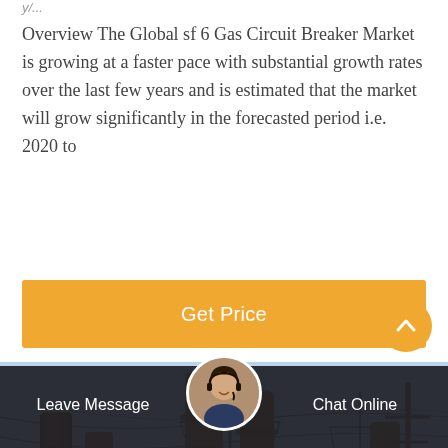Overview The Global sf 6 Gas Circuit Breaker Market is growing at a faster pace with substantial growth rates over the last few years and is estimated that the market will grow significantly in the forecasted period i.e. 2020 to
[Figure (other): Orange 'Get Price' call-to-action button]
[Figure (photo): Electrical substation photograph showing large SF6 gas circuit breakers and transmission towers against a blue sky, with a yellow crane vehicle in the background]
[Figure (other): Chat support bottom bar with 'Leave Message' on the left, a customer service agent avatar in the center, and 'Chat Online' on the right]